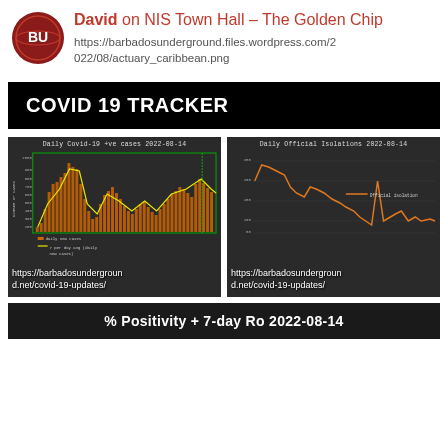David on NIS Town Hall – The Golden Chip
https://barbadosunderground.files.wordpress.com/2022/08/actuary_caribbean.png
COVID 19 TRACKER
[Figure (continuous-plot): Daily Covid-19 +ve cases 2022-08-14 – line chart with orange bars for daily new cases and yellow 7-day moving average line, dark background]
[Figure (continuous-plot): Daily Official Isolations 2022-08-14 – orange line chart on dark background showing isolation counts up to 250]
% Positivity + 7-day Ro 2022-08-14